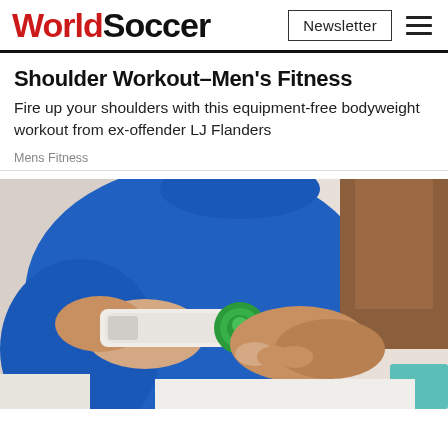WorldSoccer — Newsletter | Menu
Shoulder Workout–Men's Fitness
Fire up your shoulders with this equipment-free bodyweight workout from ex-offender LJ Flanders
Mens Fitness
[Figure (photo): A person in a blue t-shirt applying cream from a tube with a green cap to their wrist/hand area. A second person's arm is visible to the right. Background is light/white.]